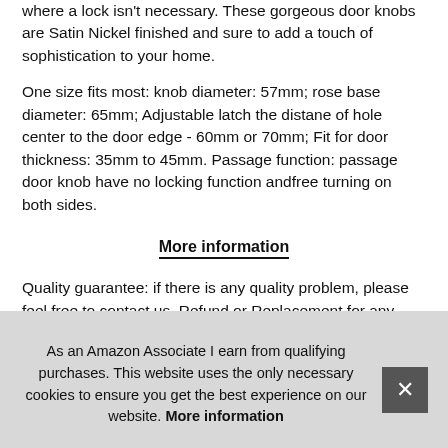where a lock isn't necessary. These gorgeous door knobs are Satin Nickel finished and sure to add a touch of sophistication to your home.
One size fits most: knob diameter: 57mm; rose base diameter: 65mm; Adjustable latch the distane of hole center to the door edge - 60mm or 70mm; Fit for door thickness: 35mm to 45mm. Passage function: passage door knob have no locking function andfree turning on both sides.
More information
Quality guarantee: if there is any quality problem, please feel free to contact us. Refund or Replacement for any quality prob… han… Stee… not…
As an Amazon Associate I earn from qualifying purchases. This website uses the only necessary cookies to ensure you get the best experience on our website. More information